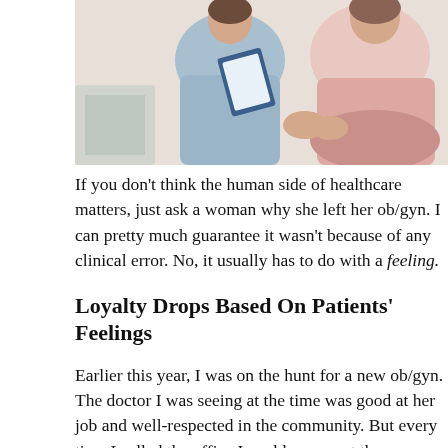[Figure (photo): A healthcare professional in light blue scrubs holding a clipboard, consulting with a patient in a pink top in what appears to be a medical office setting.]
If you don't think the human side of healthcare matters, just ask a woman why she left her ob/gyn. I can pretty much guarantee it wasn't because of any clinical error. No, it usually has to do with a feeling.
Loyalty Drops Based On Patients' Feelings
Earlier this year, I was on the hunt for a new ob/gyn. The doctor I was seeing at the time was good at her job and well-respected in the community. But every time I called the office I could never get the appointment time I wanted